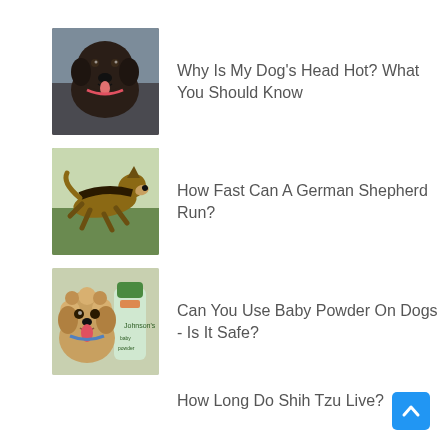[Figure (photo): Chocolate Labrador puppy looking at camera]
Why Is My Dog's Head Hot? What You Should Know
[Figure (photo): German Shepherd running on grass]
How Fast Can A German Shepherd Run?
[Figure (photo): Golden doodle dog next to Johnson's Baby Powder bottle]
Can You Use Baby Powder On Dogs - Is It Safe?
How Long Do Shih Tzu Live?